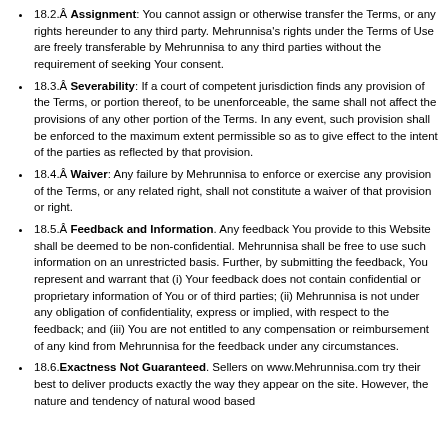18.2.Â Assignment: You cannot assign or otherwise transfer the Terms, or any rights hereunder to any third party. Mehrunnisa's rights under the Terms of Use are freely transferable by Mehrunnisa to any third parties without the requirement of seeking Your consent.
18.3.Â Severability: If a court of competent jurisdiction finds any provision of the Terms, or portion thereof, to be unenforceable, the same shall not affect the provisions of any other portion of the Terms. In any event, such provision shall be enforced to the maximum extent permissible so as to give effect to the intent of the parties as reflected by that provision.
18.4.Â Waiver: Any failure by Mehrunnisa to enforce or exercise any provision of the Terms, or any related right, shall not constitute a waiver of that provision or right.
18.5.Â Feedback and Information. Any feedback You provide to this Website shall be deemed to be non-confidential. Mehrunnisa shall be free to use such information on an unrestricted basis. Further, by submitting the feedback, You represent and warrant that (i) Your feedback does not contain confidential or proprietary information of You or of third parties; (ii) Mehrunnisa is not under any obligation of confidentiality, express or implied, with respect to the feedback; and (iii) You are not entitled to any compensation or reimbursement of any kind from Mehrunnisa for the feedback under any circumstances.
18.6.Exactness Not Guaranteed. Sellers on www.Mehrunnisa.com try their best to deliver products exactly the way they appear on the site. However, the nature and tendency of natural wood based